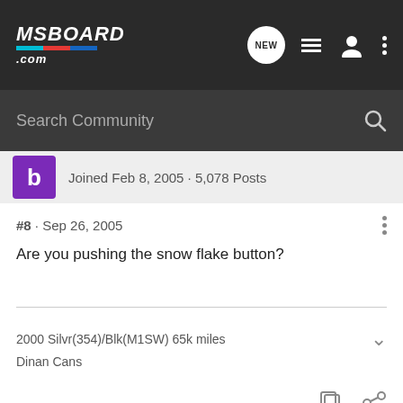MSBOARD.com
Search Community
Joined Feb 8, 2005 · 5,078 Posts
#8 · Sep 26, 2005
Are you pushing the snow flake button?
2000 Silvr(354)/Blk(M1SW) 65k miles
Dinan Cans